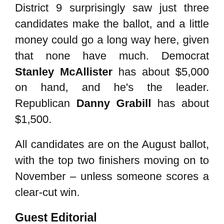District 9 surprisingly saw just three candidates make the ballot, and a little money could go a long way here, given that none have much. Democrat Stanley McAllister has about $5,000 on hand, and he's the leader. Republican Danny Grabill has about $1,500.
All candidates are on the August ballot, with the top two finishers moving on to November – unless someone scores a clear-cut win.
Guest Editorial
The following is a guest editorial from Jacksonville City Council member LeAnna Cumber:
“Legitimizing Illegal Gaming Operators Will Hurt First Responders & Public Safety.”